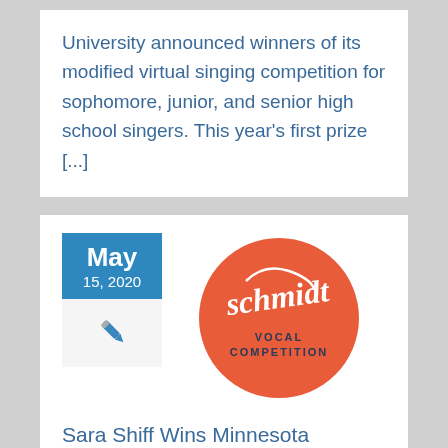University announced winners of its modified virtual singing competition for sophomore, junior, and senior high school singers. This year’s first prize […]
[Figure (logo): Schmidt Vocal Competition logo: orange/red circle with cursive 'schmidt' signature and 'VOCAL COMPETITION' text below]
Sara Shiff Wins Minnesota Schmidt Vocal Competition
By Brie | Press